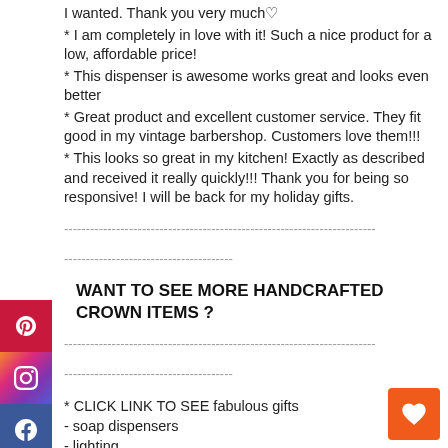I wanted. Thank you very much♡
* I am completely in love with it! Such a nice product for a low, affordable price!
* This dispenser is awesome works great and looks even better
* Great product and excellent customer service. They fit good in my vintage barbershop. Customers love them!!!
* This looks so great in my kitchen! Exactly as described and received it really quickly!!! Thank you for being so responsive! I will be back for my holiday gifts.
----------------------------------------------------------------------------------------------------------------------------------------
WANT TO SEE MORE HANDCRAFTED CROWN ITEMS ?
----------------------------------------------------------------------------------------------------------------------------------------
* CLICK LINK TO SEE fabulous gifts
- soap dispensers
- lighting